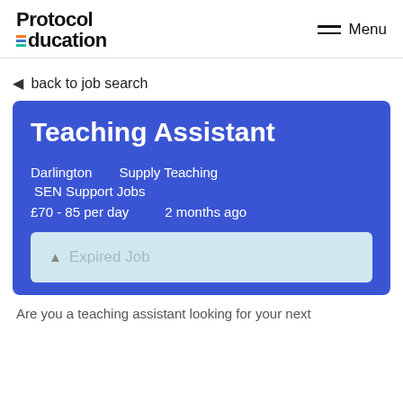[Figure (logo): Protocol Education logo with coloured bars on the E]
Menu
◄ back to job search
Teaching Assistant
Darlington   Supply Teaching
SEN Support Jobs
£70 - 85 per day   2 months ago
▲ Expired Job
Are you a teaching assistant looking for your next